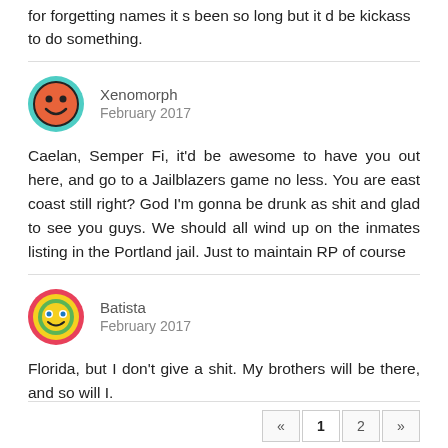for forgetting names it s been so long but it d be kickass to do something.
Xenomorph
February 2017
Caelan, Semper Fi, it'd be awesome to have you out here, and go to a Jailblazers game no less. You are east coast still right? God I'm gonna be drunk as shit and glad to see you guys. We should all wind up on the inmates listing in the Portland jail. Just to maintain RP of course
Batista
February 2017
Florida, but I don't give a shit. My brothers will be there, and so will I.